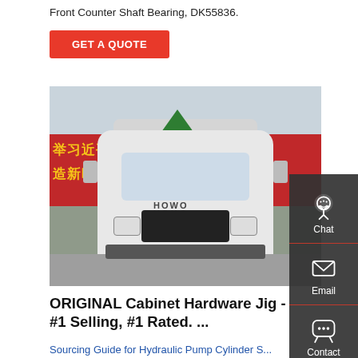Front Counter Shaft Bearing, DK55836.
GET A QUOTE
[Figure (photo): Front view of a white HOWO heavy truck parked in front of a red banner with Chinese text, against a grey sky and brick wall.]
ORIGINAL Cabinet Hardware Jig - #1 Selling, #1 Rated. ...
Sourcing Guide for Hydraulic Pump Cylinder S...